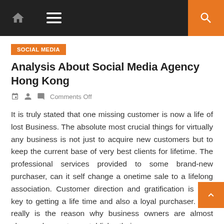Navigation bar with home icon, menu icon, and search button
SOCIAL MEDIA
Analysis About Social Media Agency Hong Kong
Comments Off
It is truly stated that one missing customer is now a life of lost Business. The absolute most crucial things for virtually any business is not just to acquire new customers but to keep the current base of very best clients for lifetime. The professional services provided to some brand-new purchaser, can it self change a onetime sale to a lifelong association. Customer direction and gratification is your key to getting a life time and also a loyal purchaser. This really is the reason why business owners are almost always keen to establish their company presence throughout societal networking effort. This helps to entice substantial level of consumers and achieve a far better relationship and customer bonding. social media agency Hong Kong